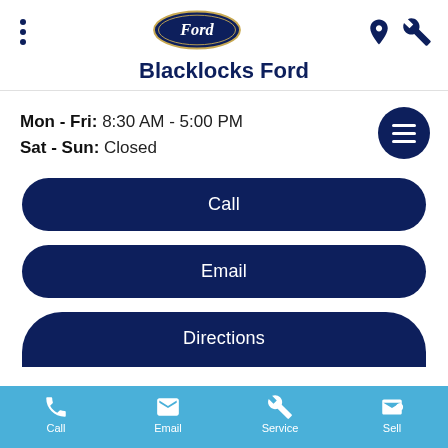[Figure (logo): Ford oval blue logo with 'Ford' script inside, centered at top of page header]
Blacklocks Ford
Mon - Fri: 8:30 AM - 5:00 PM
Sat - Sun: Closed
Call
Email
Directions
Call   Email   Service   Sell